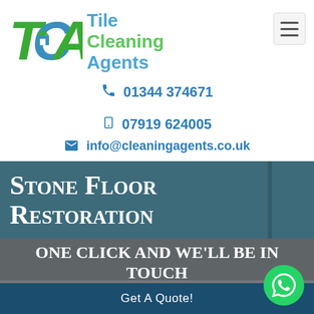[Figure (logo): Tile Cleaning Agents logo with TCA letters in green and blue, beside company name]
01344 374671
07919 624005
info@cleaningagents.co.uk
Stone Floor Restoration
One click and we'll be in touch
Get A Quote!